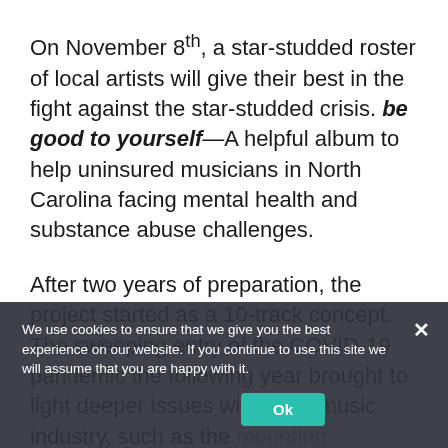On November 8th, a star-studded roster of local artists will give their best in the fight against the star-studded crisis. be good to yourself—A helpful album to help uninsured musicians in North Carolina facing mental health and substance abuse challenges.
After two years of preparation, the project started as a 10-track concept. The sweeping entry of the COVID-19 pandemic the following year brought to light deeper issues within the music industry, such as the mounting pressure of unemployment and financial inequity without access to affordable mental healthcare. Social distancing mandates further complicated the recording process, but with the help of an
We use cookies to ensure that we give you the best experience on our website. If you continue to use this site we will assume that you are happy with it.